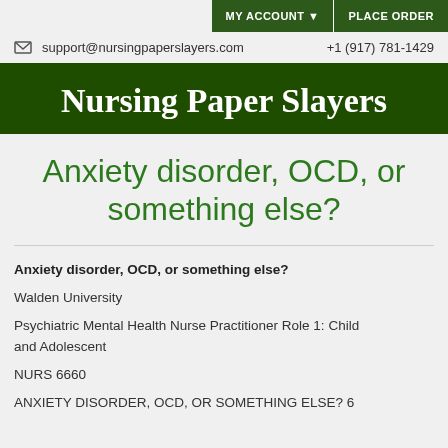MY ACCOUNT ▼  PLACE ORDER
✉ support@nursingpaperslayers.com  +1 (917) 781-1429
Nursing Paper Slayers
Anxiety disorder, OCD, or something else?
Anxiety disorder, OCD, or something else?
Walden University
Psychiatric Mental Health Nurse Practitioner Role 1: Child and Adolescent
NURS 6660
ANXIETY DISORDER, OCD, OR SOMETHING ELSE? 6